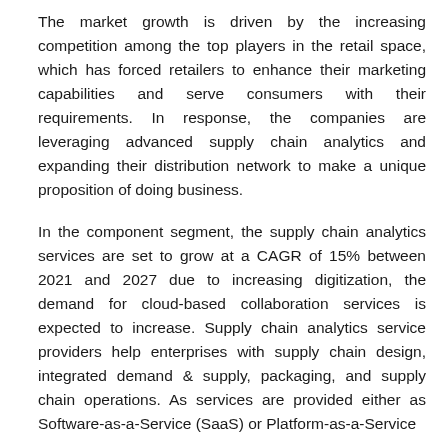The market growth is driven by the increasing competition among the top players in the retail space, which has forced retailers to enhance their marketing capabilities and serve consumers with their requirements. In response, the companies are leveraging advanced supply chain analytics and expanding their distribution network to make a unique proposition of doing business.
In the component segment, the supply chain analytics services are set to grow at a CAGR of 15% between 2021 and 2027 due to increasing digitization, the demand for cloud-based collaboration services is expected to increase. Supply chain analytics service providers help enterprises with supply chain design, integrated demand & supply, packaging, and supply chain operations. As services are provided either as Software-as-a-Service (SaaS) or Platform-as-a-Service